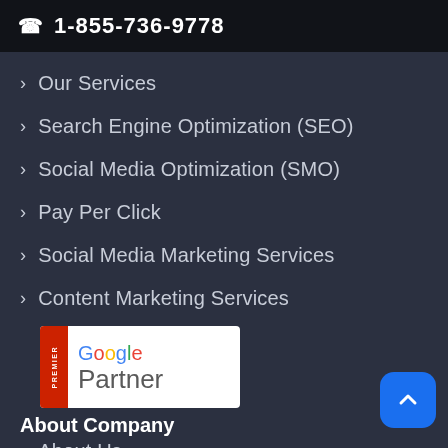☎ 1-855-736-9778
> Our Services
> Search Engine Optimization (SEO)
> Social Media Optimization (SMO)
> Pay Per Click
> Social Media Marketing Services
> Content Marketing Services
[Figure (logo): Google Premier Partner badge with red vertical bar on the left reading PREMIER and Google Partner text on white background]
About Company
> About Us